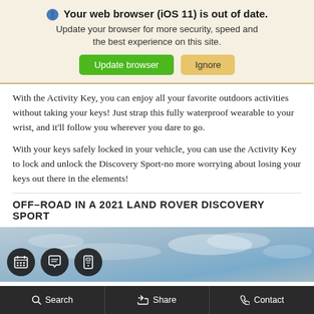🌐 Your web browser (iOS 11) is out of date. Update your browser for more security, speed and the best experience on this site. [Update browser] [Ignore]
With the Activity Key, you can enjoy all your favorite outdoors activities without taking your keys! Just strap this fully waterproof wearable to your wrist, and it'll follow you wherever you dare to go.
With your keys safely locked in your vehicle, you can use the Activity Key to lock and unlock the Discovery Sport-no more worrying about losing your keys out there in the elements!
OFF-ROAD IN A 2021 LAND ROVER DISCOVERY SPORT
[Figure (photo): Outdoor sky/clouds photo background with three dark circular icon buttons (calendar, chat, mobile message) overlaid at bottom left]
Search   Share   Contact